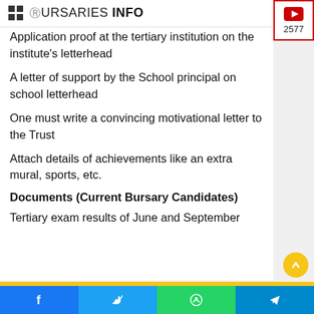BURSARIES INFO
Application proof at the tertiary institution on the institute's letterhead
A letter of support by the School principal on school letterhead
One must write a convincing motivational letter to the Trust
Attach details of achievements like an extra mural, sports, etc.
Documents (Current Bursary Candidates)
Tertiary exam results of June and September